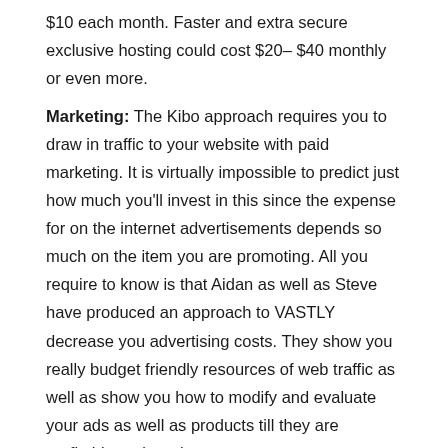$10 each month. Faster and extra secure exclusive hosting could cost $20– $40 monthly or even more.
Marketing: The Kibo approach requires you to draw in traffic to your website with paid marketing. It is virtually impossible to predict just how much you'll invest in this since the expense for on the internet advertisements depends so much on the item you are promoting. All you require to know is that Aidan as well as Steve have produced an approach to VASTLY decrease you advertising costs. They show you really budget friendly resources of web traffic as well as show you how to modify and evaluate your ads as well as products till they are profitable and ready to range.
Is There A Kibo Code Discount Rate?
By the appearances of things, I'm pretty sure they do not have a Kibo Eclipse discount or discount coupon code.